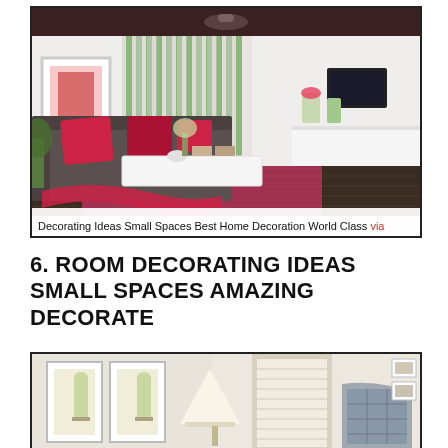[Figure (photo): Interior photo of a modern small living room with dark sofa, red/pink cushions and throw, white coffee table, pink rug, dark hardwood floor, large windows with white blinds, plants, wall art, and white media console on the right. Caption reads: Decorating Ideas Small Spaces Best Home Decoration World Class via]
Decorating Ideas Small Spaces Best Home Decoration World Class via
6. ROOM DECORATING IDEAS SMALL SPACES AMAZING DECORATE
[Figure (photo): Interior photo of a small bedroom with white/cream color scheme, framed botanical prints on the wall, white lamp on nightstand, shuttered window, and an upholstered chair in a geometric pattern.]